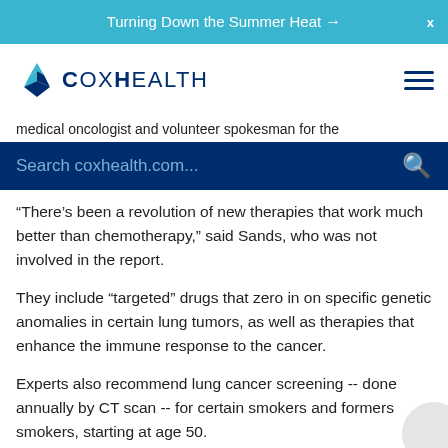Turning Down the Summer Heat →
[Figure (logo): CoxHealth logo with star/diamond graphic and text 'CoxHealth']
medical oncologist and volunteer spokesman for the
Search coxhealth.com...
“There’s been a revolution of new therapies that work much better than chemotherapy,” said Sands, who was not involved in the report.
They include “targeted” drugs that zero in on specific genetic anomalies in certain lung tumors, as well as therapies that enhance the immune response to the cancer.
Experts also recommend lung cancer screening -- done annually by CT scan -- for certain smokers and formers smokers, starting at age 50.
Unfortunately, only a small percentage of Americans who qualify actually get screened. If all candidates were screened, Sands said, that would have a “dramatic impact” on deaths.